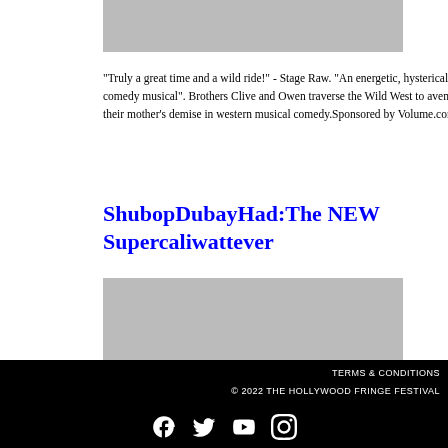[Figure (photo): Gray placeholder image at top]
"Truly a great time and a wild ride!" - Stage Raw. "An energetic, hysterical comedy musical". Brothers Clive and Owen traverse the Wild West to avenge their mother's demise in western musical comedy.Sponsored by Volume.com
ShubopDubayHad:The NEW Supercaliwattever
[Figure (photo): Gray placeholder image below title]
TERMS & CONDITIONS © 2022 THE HOLLYWOOD FRINGE FESTIVAL